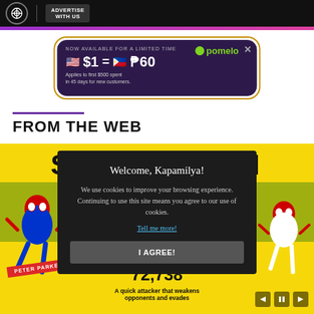ADVERTISE WITH US
[Figure (screenshot): Advertisement banner for Pomelo showing $1 = P60 exchange rate offer]
FROM THE WEB
[Figure (screenshot): Spider-Man infographic with yellow background showing Peter Parker with 72,738 stat and description 'A quick attacker that weakens opponents and evades']
Welcome, Kapamilya!

We use cookies to improve your browsing experience. Continuing to use this site means you agree to our use of cookies.

Tell me more!

I AGREE!